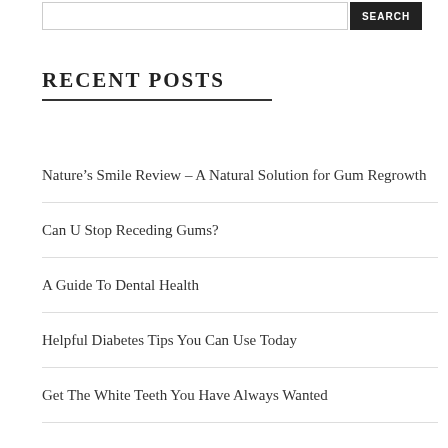RECENT POSTS
Nature’s Smile Review – A Natural Solution for Gum Regrowth
Can U Stop Receding Gums?
A Guide To Dental Health
Helpful Diabetes Tips You Can Use Today
Get The White Teeth You Have Always Wanted